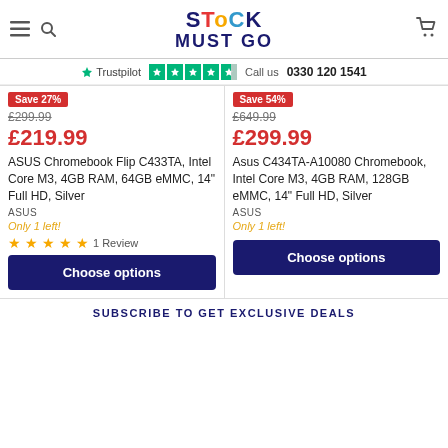STOCK MUST GO — header with navigation icons and logo
Trustpilot ★★★★½ Call us 0330 120 1541
Save 27%
£299.99
£219.99
ASUS Chromebook Flip C433TA, Intel Core M3, 4GB RAM, 64GB eMMC, 14" Full HD, Silver
ASUS
Only 1 left!
1 Review
Choose options
Save 54%
£649.99
£299.99
Asus C434TA-A10080 Chromebook, Intel Core M3, 4GB RAM, 128GB eMMC, 14" Full HD, Silver
ASUS
Only 1 left!
Choose options
SUBSCRIBE TO GET EXCLUSIVE DEALS